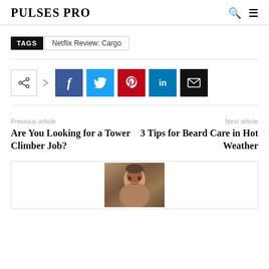PULSES PRO
TAGS  Netflix Review: Cargo
[Figure (infographic): Social share buttons: share icon, Facebook, Twitter, Pinterest, LinkedIn, Email]
Previous article
Are You Looking for a Tower Climber Job?
Next article
3 Tips for Beard Care in Hot Weather
[Figure (photo): Partial photo of a person, cropped at bottom of page]